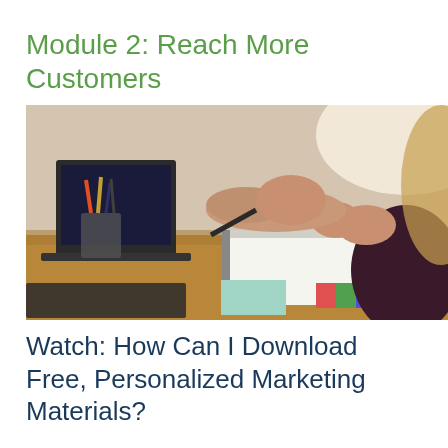Module 2: Reach More Customers
[Figure (photo): Two people at a desk with laptops, notebooks, pencils in a cup, and color swatches. One person holds a stylus and the other has hands clasped. Office/marketing work environment.]
Watch: How Can I Download Free, Personalized Marketing Materials?